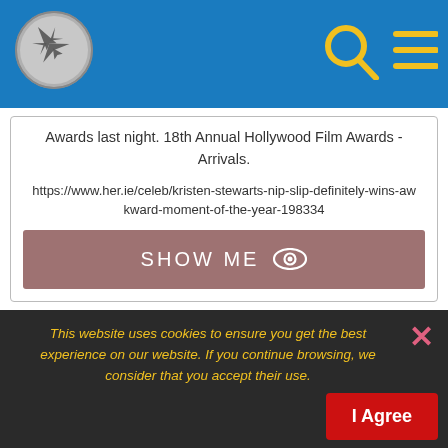[Figure (screenshot): Website header bar with airplane logo icon on the left and search/menu icons on the right, blue background]
Awards last night. 18th Annual Hollywood Film Awards - Arrivals.
https://www.her.ie/celeb/kristen-stewarts-nip-slip-definitely-wins-awkward-moment-of-the-year-198334
SHOW ME
The awkward moment when Jared Leto doesnt get out of bed naked ...
This website uses cookies to ensure you get the best experience on our website. If you continue browsing, we consider that you accept their use.
I Agree